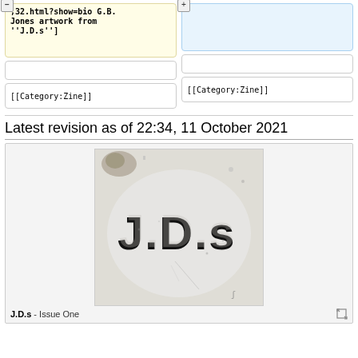,32.html?show=bio G.B. Jones artwork from ''J.D.s'']
[[Category:Zine]]
[[Category:Zine]]
Latest revision as of 22:34, 11 October 2021
[Figure (photo): Black and white scan of J.D.s zine Issue One cover, showing 'J.D.s' in large stencil letters on a worn, distressed background]
J.D.s - Issue One